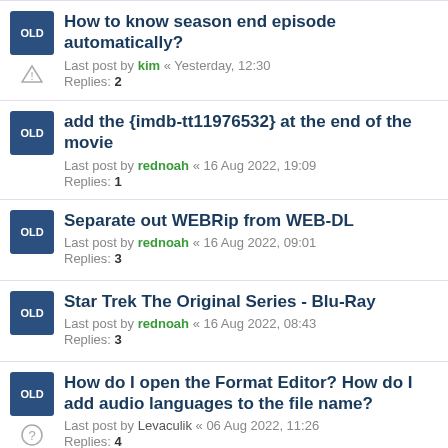How to know season end episode automatically? — Last post by kim « Yesterday, 12:30 — Replies: 2
add the {imdb-tt11976532} at the end of the movie — Last post by rednoah « 16 Aug 2022, 19:09 — Replies: 1
Separate out WEBRip from WEB-DL — Last post by rednoah « 16 Aug 2022, 09:01 — Replies: 3
Star Trek The Original Series - Blu-Ray — Last post by rednoah « 16 Aug 2022, 08:43 — Replies: 3
How do I open the Format Editor? How do I add audio languages to the file name? — Last post by Levaculik « 06 Aug 2022, 11:26 — Replies: 4
Need to ask a question about...